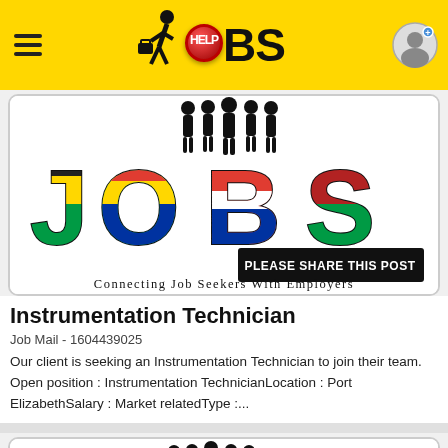JOBS - Help Jobs
[Figure (logo): Help JOBS logo with South African flag-themed JOBS text and silhouettes of people. Contains text: PLEASE SHARE THIS POST, Connecting Job Seekers With Employers]
Instrumentation Technician
Job Mail - 1604439025
Our client is seeking an Instrumentation Technician to join their team. Open position : Instrumentation TechnicianLocation : Port ElizabethSalary : Market relatedType :...
[Figure (logo): Partial second job listing card showing silhouettes of business people]